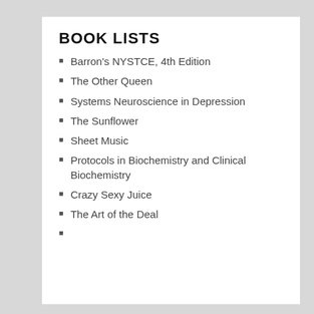BOOK LISTS
Barron's NYSTCE, 4th Edition
The Other Queen
Systems Neuroscience in Depression
The Sunflower
Sheet Music
Protocols in Biochemistry and Clinical Biochemistry
Crazy Sexy Juice
The Art of the Deal